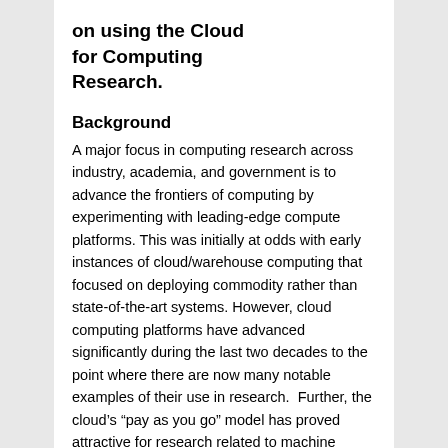on using the Cloud for Computing Research.
Background
A major focus in computing research across industry, academia, and government is to advance the frontiers of computing by experimenting with leading-edge compute platforms. This was initially at odds with early instances of cloud/warehouse computing that focused on deploying commodity rather than state-of-the-art systems. However, cloud computing platforms have advanced significantly during the last two decades to the point where there are now many notable examples of their use in research.  Further, the cloud's “pay as you go” model has proved attractive for research related to machine learning and data analytics that benefit from elastic provisioning of resources. It is noteworthy that NSF has extended its CloudBank portal with a CloudBank Catalog with links to commercial cloud services that can be paid